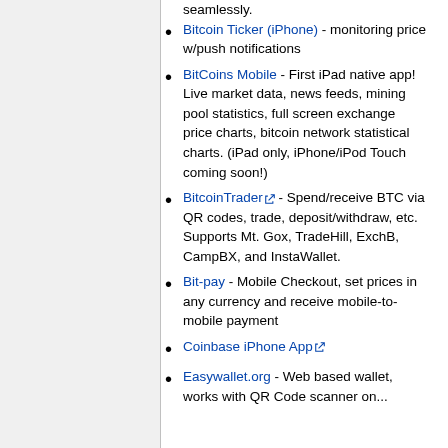seamlessly.
Bitcoin Ticker (iPhone) - monitoring price w/push notifications
BitCoins Mobile - First iPad native app! Live market data, news feeds, mining pool statistics, full screen exchange price charts, bitcoin network statistical charts. (iPad only, iPhone/iPod Touch coming soon!)
BitcoinTrader - Spend/receive BTC via QR codes, trade, deposit/withdraw, etc. Supports Mt. Gox, TradeHill, ExchB, CampBX, and InstaWallet.
Bit-pay - Mobile Checkout, set prices in any currency and receive mobile-to-mobile payment
Coinbase iPhone App
Easywallet.org - Web based wallet, works with QR Code scanner on...